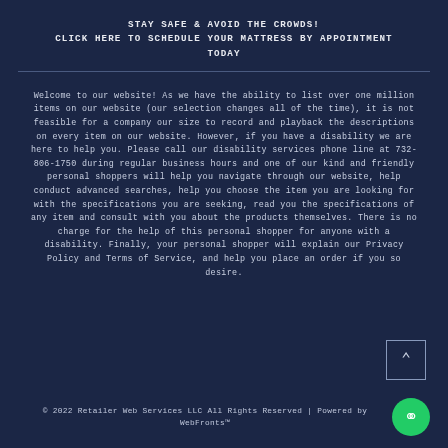STAY SAFE & AVOID THE CROWDS!
CLICK HERE TO SCHEDULE YOUR MATTRESS BY APPOINTMENT TODAY
Welcome to our website! As we have the ability to list over one million items on our website (our selection changes all of the time), it is not feasible for a company our size to record and playback the descriptions on every item on our website. However, if you have a disability we are here to help you. Please call our disability services phone line at 732-806-1750 during regular business hours and one of our kind and friendly personal shoppers will help you navigate through our website, help conduct advanced searches, help you choose the item you are looking for with the specifications you are seeking, read you the specifications of any item and consult with you about the products themselves. There is no charge for the help of this personal shopper for anyone with a disability. Finally, your personal shopper will explain our Privacy Policy and Terms of Service, and help you place an order if you so desire.
© 2022 Retailer Web Services LLC All Rights Reserved | Powered by WebFronts™